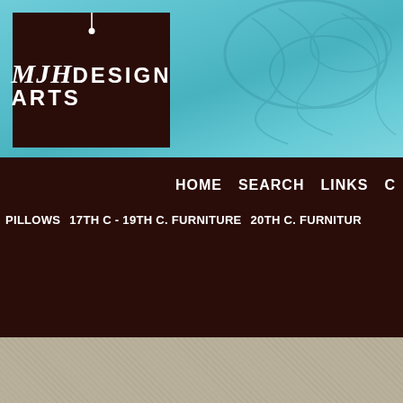[Figure (logo): MJH Design Arts logo with dark brown box, white text on teal/turquoise decorative background]
HOME  SEARCH  LINKS  C...
PILLOWS  17TH C - 19TH C. FURNITURE  20TH C. FURNITUR...
Print
Search Store:
Tag: 19th c. chinese horseshoe chairs
[Figure (photo): Small product photo of chinese horseshoe chairs, partially visible at bottom right]